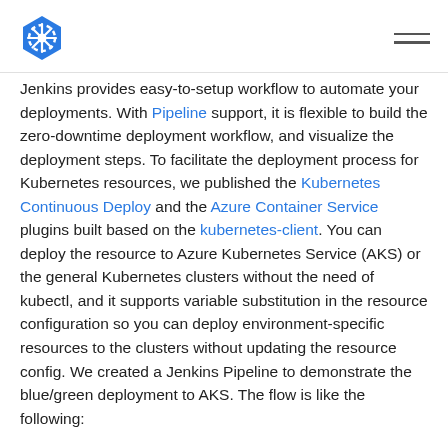[Kubernetes logo] [hamburger menu]
Jenkins provides easy-to-setup workflow to automate your deployments. With Pipeline support, it is flexible to build the zero-downtime deployment workflow, and visualize the deployment steps. To facilitate the deployment process for Kubernetes resources, we published the Kubernetes Continuous Deploy and the Azure Container Service plugins built based on the kubernetes-client. You can deploy the resource to Azure Kubernetes Service (AKS) or the general Kubernetes clusters without the need of kubectl, and it supports variable substitution in the resource configuration so you can deploy environment-specific resources to the clusters without updating the resource config. We created a Jenkins Pipeline to demonstrate the blue/green deployment to AKS. The flow is like the following: